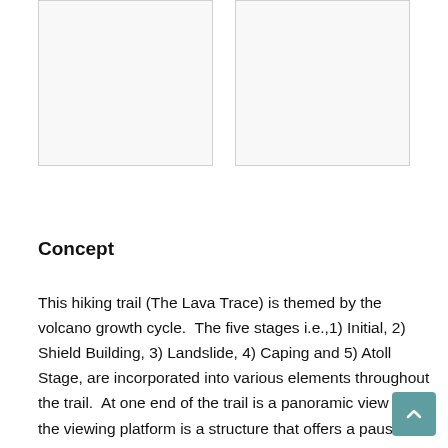[Figure (photo): Two image placeholders side by side (white/light gray rectangles with thin border)]
Concept
This hiking trail (The Lava Trace) is themed by the volcano growth cycle.  The five stages i.e.,1) Initial, 2) Shield Building, 3) Landslide, 4) Caping and 5) Atoll Stage, are incorporated into various elements throughout the trail.  At one end of the trail is a panoramic view and the viewing platform is a structure that offers a pause, a place to sit and rest.  Since the